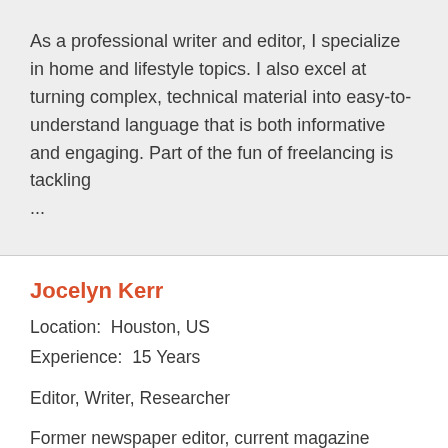As a professional writer and editor, I specialize in home and lifestyle topics. I also excel at turning complex, technical material into easy-to-understand language that is both informative and engaging. Part of the fun of freelancing is tackling ...
Jocelyn Kerr
Location:  Houston, US
Experience:  15 Years
Editor, Writer, Researcher
Former newspaper editor, current magazine contributing writer, worked on media projects ranging from PBS-aired documentaries to marketing collateral for corporations and nonprofit organizations. Specialties include food